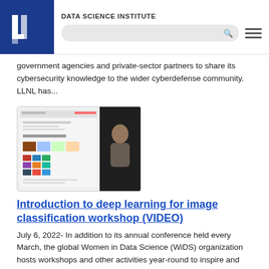DATA SCIENCE INSTITUTE
government agencies and private-sector partners to share its cybersecurity knowledge to the wider cyberdefense community. LLNL has...
[Figure (screenshot): Screenshot of a Convolutional Neural Network presentation slide on the left, and a video thumbnail of a person on the right.]
Introduction to deep learning for image classification workshop (VIDEO)
July 6, 2022- In addition to its annual conference held every March, the global Women in Data Science (WiDS) organization hosts workshops and other activities year-round to inspire and educate data scientists worldwide, regardless of gender.